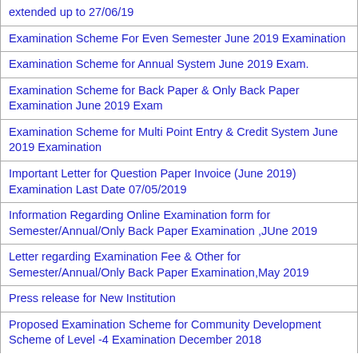| extended up to 27/06/19 |
| Examination Scheme For Even Semester June 2019 Examination |
| Examination Scheme for Annual System June 2019 Exam. |
| Examination Scheme for Back Paper & Only Back Paper Examination June 2019 Exam |
| Examination Scheme for Multi Point Entry & Credit System June 2019 Examination |
| Important Letter for Question Paper Invoice (June 2019) Examination Last Date 07/05/2019 |
| Information Regarding Online Examination form for Semester/Annual/Only Back Paper Examination ,JUne 2019 |
| Letter regarding Examination Fee & Other for Semester/Annual/Only Back Paper Examination,May 2019 |
| Press release for New Institution |
| Proposed Examination Scheme for Community Development Scheme of Level -4 Examination December 2018 |